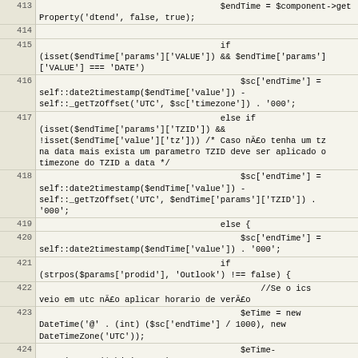| line | code |
| --- | --- |
| 413 | $endTime = $component->getProperty('dtend', false, true); |
| 414 |  |
| 415 | if (isset($endTime['params']['VALUE']) && $endTime['params']['VALUE'] === 'DATE') |
| 416 | $sc['endTime'] = self::date2timestamp($endTime['value']) - self::_getTzOffset('UTC', $sc['timezone']) . '000'; |
| 417 | else if (isset($endTime['params']['TZID']) && !isset($endTime['value']['tz'])) /* Caso não tenha um tz na data mais exista um parametro TZID deve ser aplicado o timezone do TZID a data */ |
| 418 | $sc['endTime'] = self::date2timestamp($endTime['value']) - self::_getTzOffset('UTC', $endTime['params']['TZID']) . '000'; |
| 419 | else { |
| 420 | $sc['endTime'] = self::date2timestamp($endTime['value']) . '000'; |
| 421 | if (strpos($params['prodid'], 'Outlook') !== false) { |
| 422 | //Se o ics veio em utc não aplicar horario de verão |
| 423 | $eTime = new DateTime('@' . (int) ($sc['endTime'] / 1000), new DateTimeZone('UTC')); |
| 424 | $eTime->setTimezone($objTimezone); |
| 425 | if ($eTime->format('I')) |
| 426 | $sc['endTime'] = $sc['endTime'] - 3600000; |
| 427 | } |